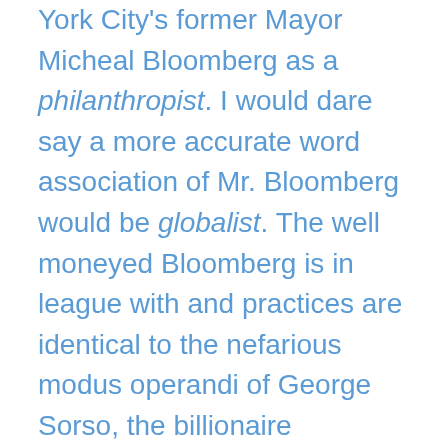York City's former Mayor Micheal Bloomberg as a philanthropist. I would dare say a more accurate word association of Mr. Bloomberg would be globalist. The well moneyed Bloomberg is in league with and practices are identical to the nefarious modus operandi of George Sorso, the billionaire holocaust opportunist. Both scoundrels use their personal fortunes not to make a product or provide a service but instead strive to re-direct cultural norms by influencing the lives of the soft-minded, gullible, progressive, and oft violent masses. Bloomberg bank rolled his own mayoral campaigns that resulted in a 12 year reign to the tune of $260 million. He also picks up the $39 million tab for